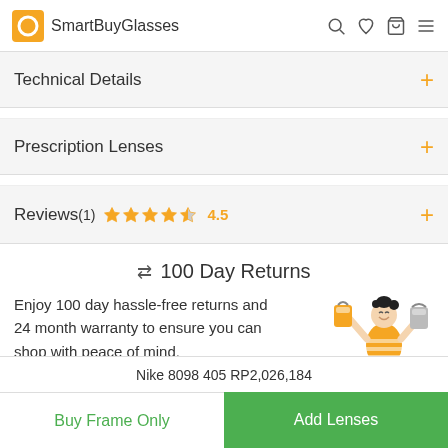SmartBuyGlasses
Technical Details
Prescription Lenses
Reviews(1) 4.5
⇄ 100 Day Returns
Enjoy 100 day hassle-free returns and 24 month warranty to ensure you can shop with peace of mind.
Nike 8098 405 RP2,026,184
Buy Frame Only
Add Lenses